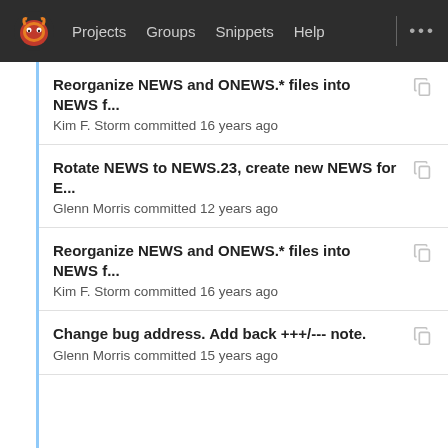Projects  Groups  Snippets  Help  ...
Reorganize NEWS and ONEWS.* files into NEWS f...
Kim F. Storm committed 16 years ago
Rotate NEWS to NEWS.23, create new NEWS for E...
Glenn Morris committed 12 years ago
Reorganize NEWS and ONEWS.* files into NEWS f...
Kim F. Storm committed 16 years ago
Change bug address. Add back +++/--- note.
Glenn Morris committed 15 years ago
Put "temporary note" back in for Emacs 23.2.
Chong Yidong committed 13 years ago